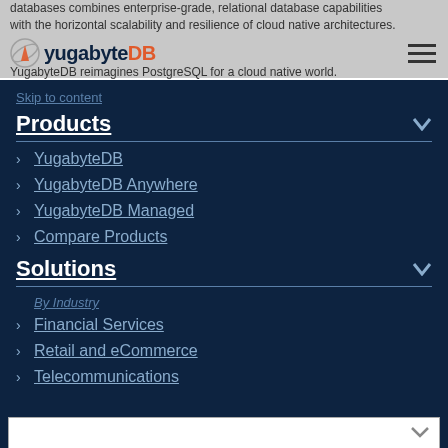databases combines enterprise-grade, relational database capabilities with the horizontal scalability and resilience of cloud native architectures.
[Figure (logo): YugabyteDB logo with orbital icon and text 'yugabyteDB']
YugabyteDB reimagines PostgreSQL for a cloud native world.
Skip to content
Products
YugabyteDB
YugabyteDB Anywhere
YugabyteDB Managed
Compare Products
Solutions
By Industry
Financial Services
Retail and eCommerce
Telecommunications
Community